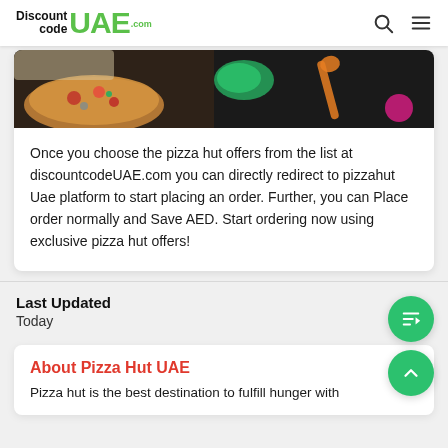DiscountcodeUAE.com
[Figure (photo): Food photo showing pizza and ingredients on a dark background]
Once you choose the pizza hut offers from the list at discountcodeUAE.com you can directly redirect to pizzahut Uae platform to start placing an order. Further, you can Place order normally and Save AED. Start ordering now using exclusive pizza hut offers!
Last Updated
Today
About Pizza Hut UAE
Pizza hut is the best destination to fulfill hunger with